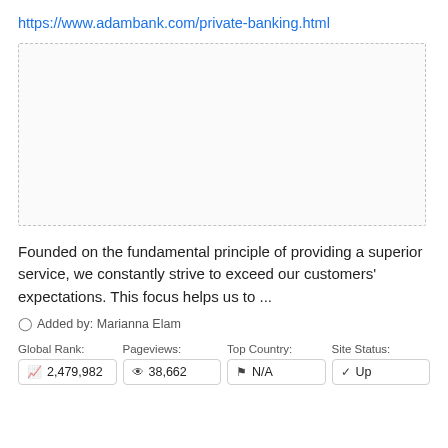https://www.adambank.com/private-banking.html
[Figure (screenshot): Empty dashed-border preview box representing a webpage screenshot placeholder]
Founded on the fundamental principle of providing a superior service, we constantly strive to exceed our customers' expectations. This focus helps us to ...
Added by: Marianna Elam
| Global Rank: | Pageviews: | Top Country: | Site Status: |
| --- | --- | --- | --- |
| 2,479,982 | 38,662 | N/A | Up |